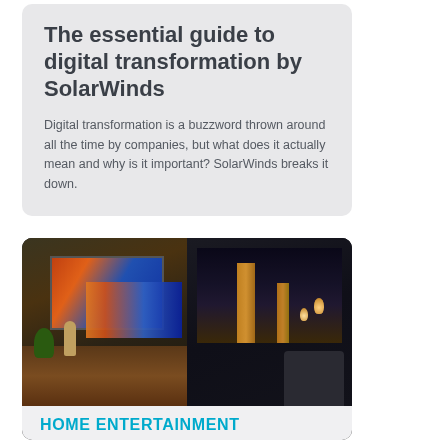The essential guide to digital transformation by SolarWinds
Digital transformation is a buzzword thrown around all the time by companies, but what does it actually mean and why is it important? SolarWinds breaks it down.
[Figure (photo): Interior room scene split into two panels: left panel shows a living room with wooden TV console/sideboard, a lamp, a plant, and a large wall-mounted display showing Big Ben at sunset; right panel shows a darker room with the same Big Ben image on screen, hanging Edison bulb lights, and a dark armchair.]
HOME ENTERTAINMENT